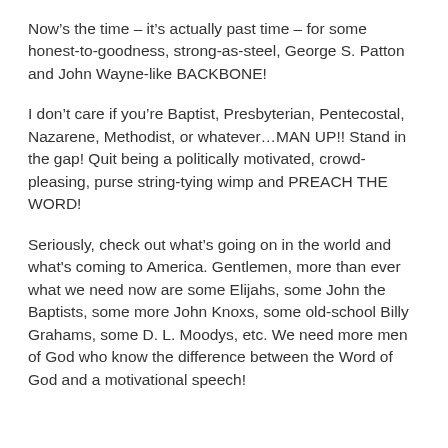Now’s the time – it’s actually past time – for some honest-to-goodness, strong-as-steel, George S. Patton and John Wayne-like BACKBONE!
I don’t care if you’re Baptist, Presbyterian, Pentecostal, Nazarene, Methodist, or whatever…MAN UP!! Stand in the gap! Quit being a politically motivated, crowd-pleasing, purse string-tying wimp and PREACH THE WORD!
Seriously, check out what’s going on in the world and what's coming to America. Gentlemen, more than ever what we need now are some Elijahs, some John the Baptists, some more John Knoxs, some old-school Billy Grahams, some D. L. Moodys, etc. We need more men of God who know the difference between the Word of God and a motivational speech!